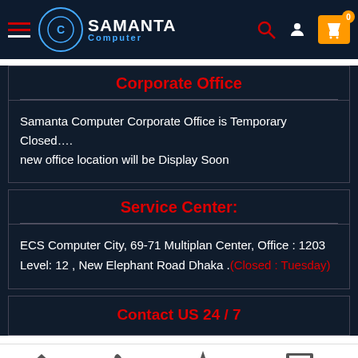[Figure (screenshot): Samanta Computer website header navigation bar with hamburger menu, logo, search icon, user icon, and shopping basket icon showing 0 items]
Corporate Office
Samanta Computer Corporate Office is Temporary Closed….
new office location will be Display Soon
Service Center:
ECS Computer City, 69-71 Multiplan Center, Office : 1203
Level: 12 , New Elephant Road Dhaka .(Closed : Tuesday)
Contact US 24 / 7
Home  Call  offer  PC BUILDER